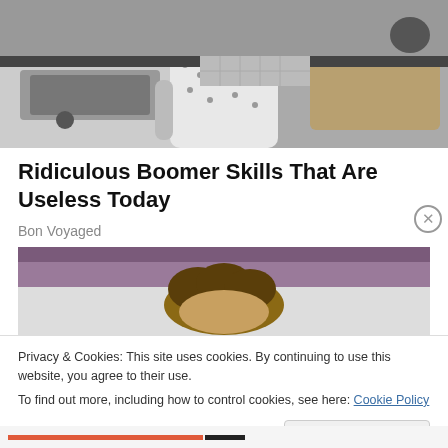[Figure (photo): Black and white vintage photo of a woman in a floral dress and apron standing in a kitchen near a sink, with a basket of laundry]
Ridiculous Boomer Skills That Are Useless Today
Bon Voyaged
[Figure (photo): Photo of a person lying in bed with curly hair, purple curtain in background]
Privacy & Cookies: This site uses cookies. By continuing to use this website, you agree to their use.
To find out more, including how to control cookies, see here: Cookie Policy
Close and accept